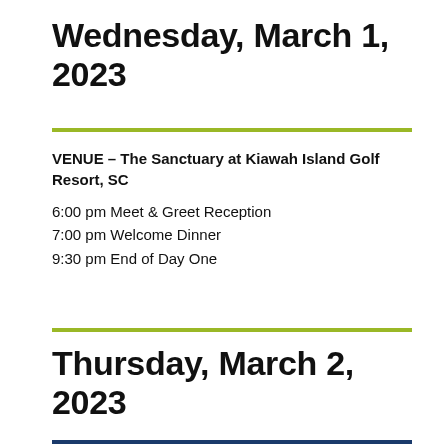Wednesday, March 1, 2023
VENUE – The Sanctuary at Kiawah Island Golf Resort, SC
6:00 pm Meet & Greet Reception
7:00 pm Welcome Dinner
9:30 pm End of Day One
Thursday, March 2, 2023